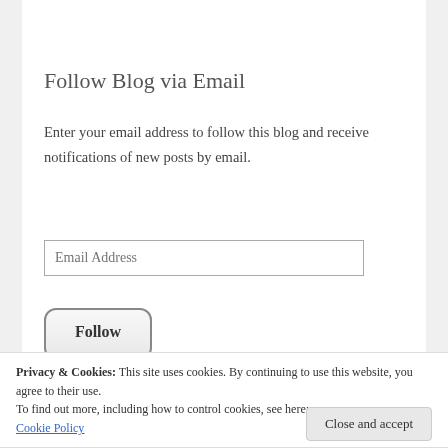Follow Blog via Email
Enter your email address to follow this blog and receive notifications of new posts by email.
Email Address
Follow
Privacy & Cookies: This site uses cookies. By continuing to use this website, you agree to their use. To find out more, including how to control cookies, see here: Cookie Policy
Close and accept